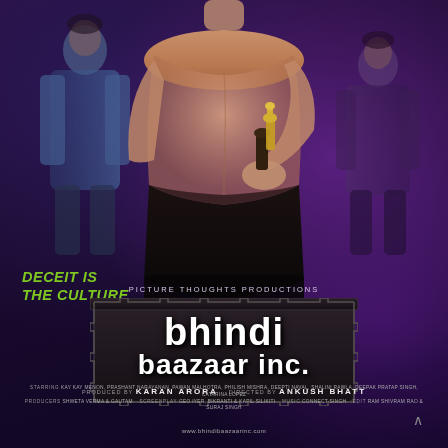[Figure (photo): Movie poster for Bhindi Baazaar Inc. showing back of a woman holding chess pieces, with two figures flanking her on a dark purple background]
DECEIT IS THE CULTURE
PICTURE THOUGHTS PRODUCTIONS
bhindi baazaar inc.
PRODUCED BY KARAN ARORA  DIRECTED BY ANKUSH BHATT
www.bhindibaazaarinc.com